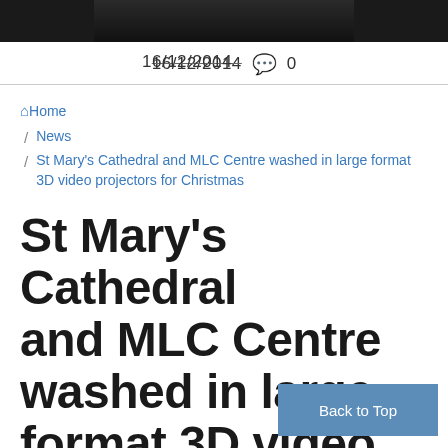[Figure (photo): Dark image at the top of the page, partially cropped]
16/12/2014 💬 0
Home / News / St Mary's Cathedral and MLC Centre washed in large format 3D video projectors for Christmas
St Mary's Cathedral and MLC Centre washed in large format 3D video projectors for Christmas